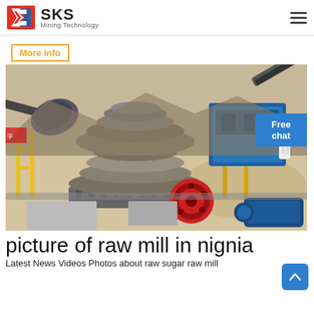SKS Mining Technology
More Info
[Figure (photo): Industrial mining/crushing equipment site showing a large cone crusher in the foreground with a red flywheel, blue crusher machine in the background, conveyor belts, scaffolding, and piles of gravel/aggregate material on a construction/mining site.]
picture of raw mill in nignia
Latest News Videos Photos about raw sugar raw mill